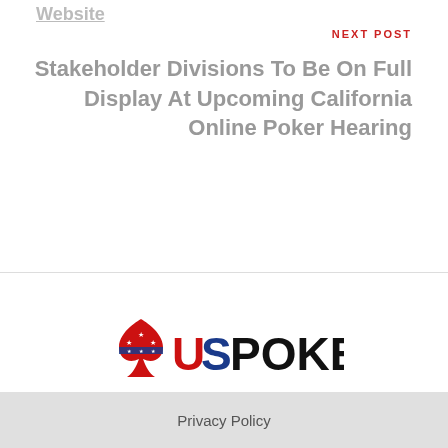Website
NEXT POST
Stakeholder Divisions To Be On Full Display At Upcoming California Online Poker Hearing
[Figure (logo): AUSPOKER logo with a spade card suit icon in red, white and blue patriotic colors followed by the text USPOKER in bold black letters]
Privacy Policy